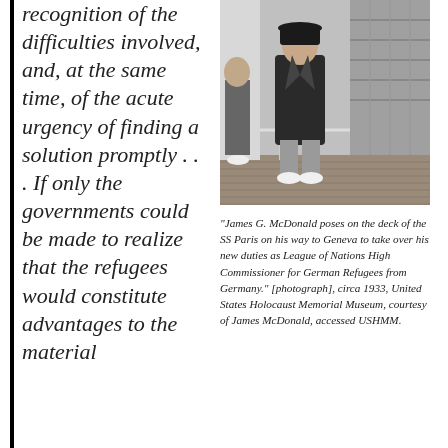recognition of the difficulties involved, and, at the same time, of the acute urgency of finding a solution promptly . . . If only the governments could be made to realize that the refugees would constitute advantages to the material
[Figure (photo): Black and white photograph of James G. McDonald standing on the deck of the SS Paris, wearing a long dark coat.]
"James G. McDonald poses on the deck of the SS Paris on his way to Geneva to take over his new duties as League of Nations High Commissioner for German Refugees from Germany." [photograph], circa 1933, United States Holocaust Memorial Museum, courtesy of James McDonald, accessed USHMM.